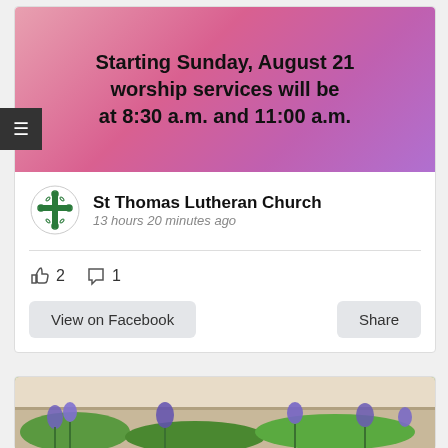[Figure (photo): Pink/purple gradient banner with bold black text: Starting Sunday, August 21 worship services will be at 8:30 a.m. and 11:00 a.m.]
St Thomas Lutheran Church
13 hours 20 minutes ago
👍 2   💬 1
View on Facebook   Share
[Figure (photo): Outdoor garden photo showing purple iris flowers and brick wall]